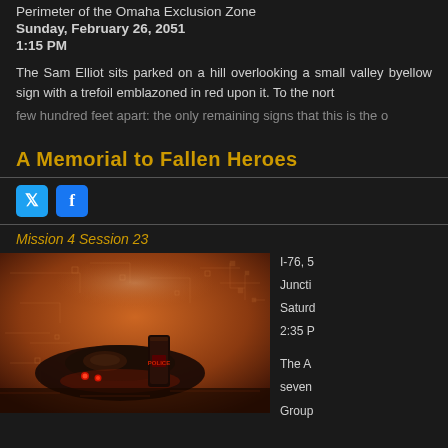Perimeter of the Omaha Exclusion Zone
Sunday, February 26, 2051
1:15 PM
The Sam Elliot sits parked on a hill overlooking a small valley b... yellow sign with a trefoil emblazoned in red upon it. To the nort...
few hundred feet apart: the only remaining signs that this is the o...
A Memorial to Fallen Heroes
[Figure (other): Twitter and Facebook social share buttons]
Mission 4 Session 23
[Figure (illustration): Sci-fi/cyberpunk scene with a futuristic police vehicle or craft with red glowing lights, over a circuit-board-like terrain with orange and red tones]
I-76, 5... Juncti... Saturd... 2:35 P... The A... seven... Grour...